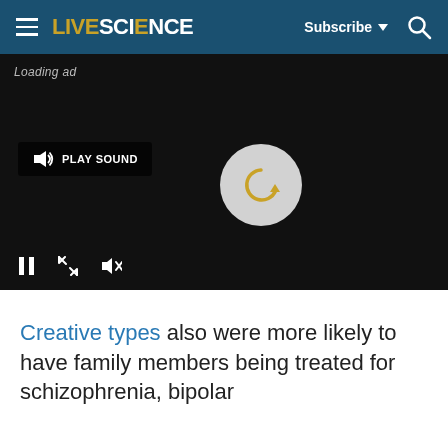LIVESCIENCE — Subscribe ▼ 🔍
[Figure (screenshot): Video player with dark background showing 'Loading ad' text, a PLAY SOUND button, a circular loading spinner with golden arrow, pause button, expand button, and mute button at the bottom.]
Creative types also were more likely to have family members being treated for schizophrenia, bipolar